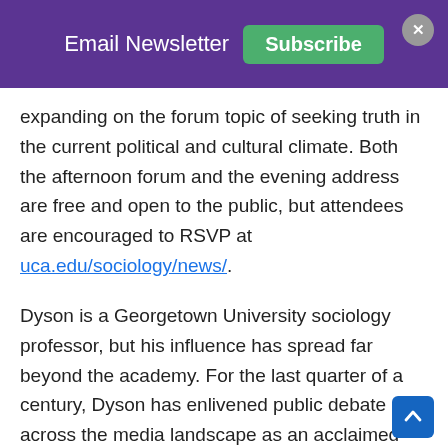Email Newsletter  Subscribe
expanding on the forum topic of seeking truth in the current political and cultural climate. Both the afternoon forum and the evening address are free and open to the public, but attendees are encouraged to RSVP at uca.edu/sociology/news/.
Dyson is a Georgetown University sociology professor, but his influence has spread far beyond the academy. For the last quarter of a century, Dyson has enlivened public debate across the media landscape as an acclaimed author of 19 books, highly sought after lecturer, and national media fixture. As for Dyson's latest book, "What Truth Sounds Like," The Washington Post states that it is passionately written and that "Dyson's